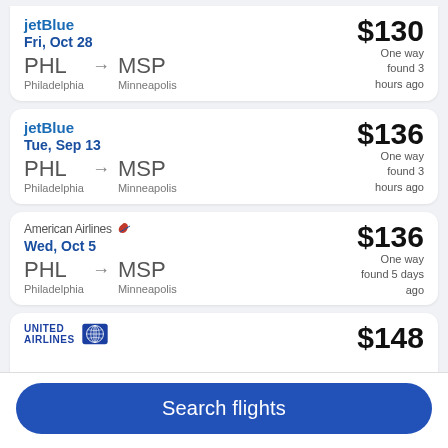jetBlue | Fri, Oct 28 | PHL → MSP | Philadelphia → Minneapolis | $130 One way found 3 hours ago
jetBlue | Tue, Sep 13 | PHL → MSP | Philadelphia → Minneapolis | $136 One way found 3 hours ago
American Airlines | Wed, Oct 5 | PHL → MSP | Philadelphia → Minneapolis | $136 One way found 5 days ago
United Airlines | $148
Search flights